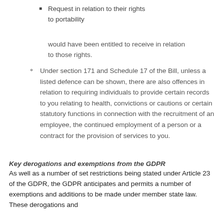Request in relation to their rights to portability
would have been entitled to receive in relation to those rights.
Under section 171 and Schedule 17 of the Bill, unless a listed defence can be shown, there are also offences in relation to requiring individuals to provide certain records to you relating to health, convictions or cautions or certain statutory functions in connection with the recruitment of an employee, the continued employment of a person or a contract for the provision of services to you.
Key derogations and exemptions from the GDPR
As well as a number of set restrictions being stated under Article 23 of the GDPR, the GDPR anticipates and permits a number of exemptions and additions to be made under member state law. These derogations and